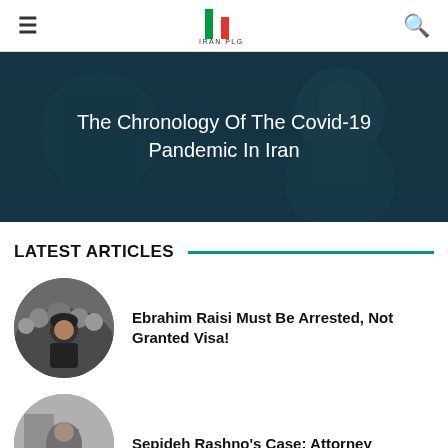≡  [Logo: IRAN PLG]  🔍
[Figure (photo): Hero banner with dark teal background showing faint cartoon/illustration artwork. Text overlay reads: The Chronology Of The Covid-19 Pandemic In Iran]
The Chronology Of The Covid-19 Pandemic In Iran
LATEST ARTICLES
[Figure (photo): Circular thumbnail photo of a crowd of men in dark clothing, one appearing to be Ebrahim Raisi]
Ebrahim Raisi Must Be Arrested, Not Granted Visa!
[Figure (photo): Circular black and white thumbnail photo showing a historical figure]
Sepideh Rashno's Case: Attorney